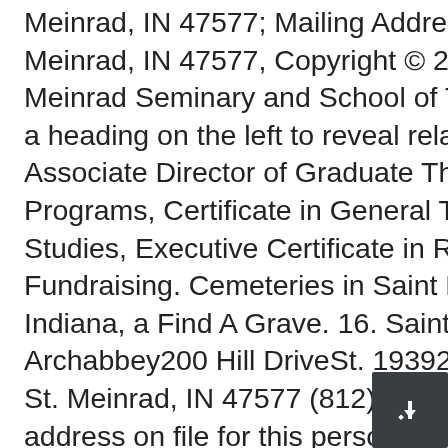Meinrad, IN 47577; Mailing Address: P.O. Meinrad, IN 47577, Copyright © 2021 Saint Meinrad Seminary and School of Theology, Click a heading on the left to reveal related pages, Associate Director of Graduate Theology Programs, Certificate in General Theological Studies, Executive Certificate in Religious Fundraising. Cemeteries in Saint Meinrad, Indiana, a Find A Grave. 16. Saint Meinrad Archabbey200 Hill DriveSt. 19392 N State Rd 545 St. Meinrad, IN 47577 (812) 357-6667. The address on file for this person is St Meinrad, St Meinrad, IN 47577-0000 in Spencer County. Pinpoint GPS Locations On Campus. Donna Gessner is listed as a Treasurer with St Meinrad Community Center Inc in Indiana. Include your full name, address and phone number. There he became a monk and was ordained. Log In. J & R Equipment & Salvage Corp. General Contractors Metal Buildings Real Estate Developers. The address on file for this company is 20634 N County Road 950 E, Ferdinand, IN 47532 in Dubois County. Fire Departments Nearby. View map of Saint Meinrad Seminary and School of Theology, and get driving directions from your